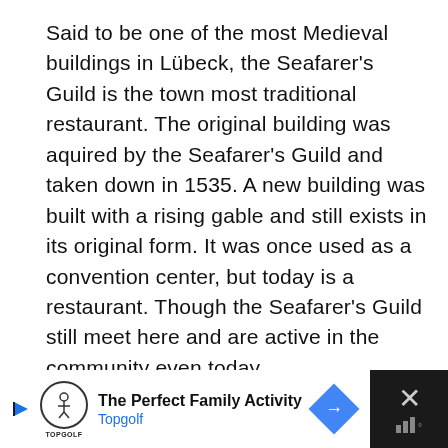Said to be one of the most Medieval buildings in Lübeck, the Seafarer's Guild is the town most traditional restaurant. The original building was aquired by the Seafarer's Guild and taken down in 1535. A new building was built with a rising gable and still exists in its original form. It was once used as a convention center, but today is a restaurant. Though the Seafarer's Guild still meet here and are active in the community even today.
[Figure (other): Advertisement banner for Topgolf: 'The Perfect Family Activity' with Topgolf logo, navigation icon, and close button with weather icon]